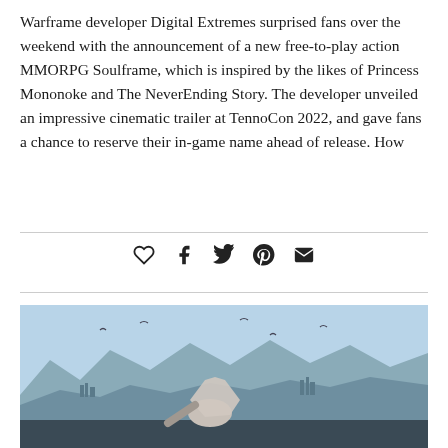Warframe developer Digital Extremes surprised fans over the weekend with the announcement of a new free-to-play action MMORPG Soulframe, which is inspired by the likes of Princess Mononoke and The NeverEnding Story. The developer unveiled an impressive cinematic trailer at TennoCon 2022, and gave fans a chance to reserve their in-game name ahead of release. How
[Figure (infographic): Social sharing icon bar with heart (like), Facebook, Twitter, Pinterest, and email icons]
[Figure (photo): Screenshot from a video game (appears to be Assassin's Creed) showing a hooded assassin character crouching or falling in front of a panoramic medieval city landscape with mountains in the background under a blue sky]